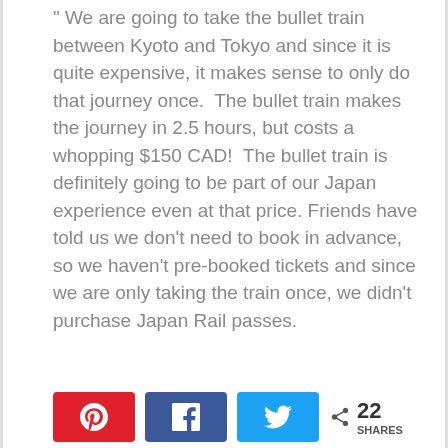We are going to take the bullet train between Kyoto and Tokyo and since it is quite expensive, it makes sense to only do that journey once. The bullet train makes the journey in 2.5 hours, but costs a whopping $150 CAD! The bullet train is definitely going to be part of our Japan experience even at that price. Friends have told us we don't need to book in advance, so we haven't pre-booked tickets and since we are only taking the train once, we didn't purchase Japan Rail passes.